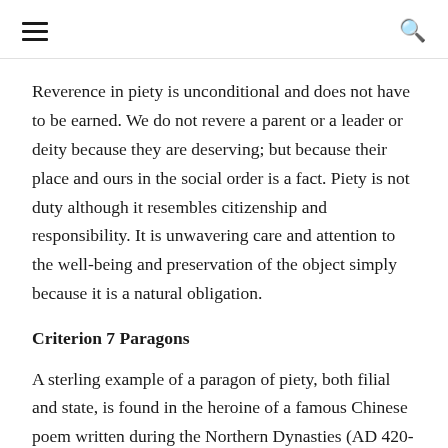≡  🔍
Reverence in piety is unconditional and does not have to be earned. We do not revere a parent or a leader or deity because they are deserving; but because their place and ours in the social order is a fact. Piety is not duty although it resembles citizenship and responsibility. It is unwavering care and attention to the well-being and preservation of the object simply because it is a natural obligation.
Criterion 7 Paragons
A sterling example of a paragon of piety, both filial and state, is found in the heroine of a famous Chinese poem written during the Northern Dynasties (AD 420-589). A